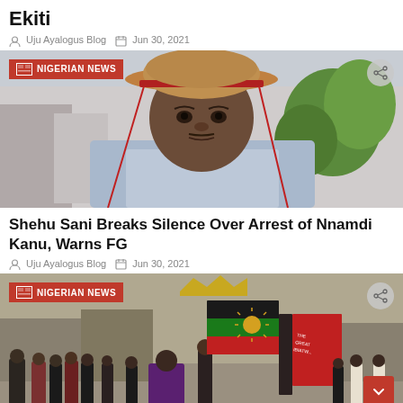Ekiti
Uju Ayalogus Blog   Jun 30, 2021
[Figure (photo): Man wearing a red-trimmed straw hat, looking forward, with green plants in the background. Badge: NIGERIAN NEWS]
Shehu Sani Breaks Silence Over Arrest of Nnamdi Kanu, Warns FG
Uju Ayalogus Blog   Jun 30, 2021
[Figure (photo): Crowd of people marching, holding Biafra flags (green, black, red with gold sun). Badge: NIGERIAN NEWS]